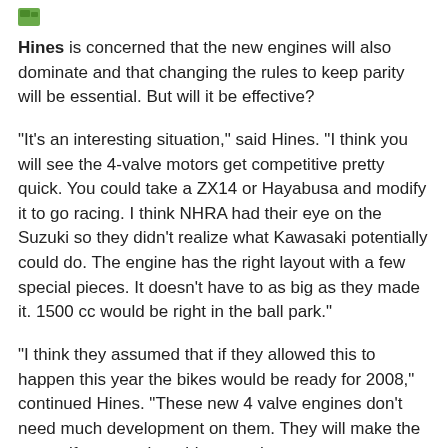[Figure (other): Small green icon/logo in top left corner]
Hines is concerned that the new engines will also dominate and that changing the rules to keep parity will be essential. But will it be effective?
“It’s an interesting situation,” said Hines.  “I think you will see the 4-valve motors get competitive pretty quick. You could take a ZX14 or Hayabusa and modify it to go racing. I think NHRA had their eye on the Suzuki so they didn’t realize what Kawasaki potentially could do.  The engine has the right layout with a few special pieces.  It doesn’t have to as big as they made it.  1500 cc would be right in the ball park.”
“I think they assumed that if they allowed this to happen this year the bikes would be ready for 2008,” continued Hines. “These new 4 valve engines don’t need much development on them.  They will make the power if you get them big enough.